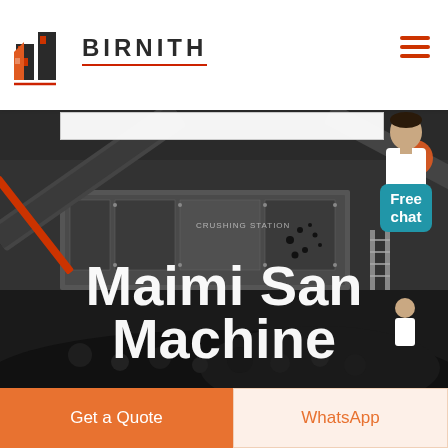BIRNITH
[Figure (photo): Industrial crushing station machinery with conveyor belts and large equipment, dark background with coal/rock piles. Text overlay reads 'Maimi San Machine'. A customer service representative avatar appears in the top right corner with a 'Free chat' button in teal/blue.]
Maimi San Machine
Free chat
Get a Quote
WhatsApp